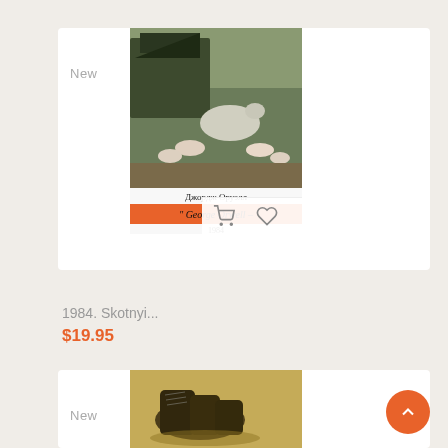[Figure (photo): Book product card showing cover of '1984. Skotnyi...' by George Orwell in Russian edition with farm animals painting on cover, orange signature stripe, and action icons (cart, heart, chart, eye) at the bottom. Labeled 'New'.]
1984. Skotnyi...
$19.95
[Figure (photo): Second book product card showing cover with painting of old boots/shoes on yellowish background. Labeled 'New'.]